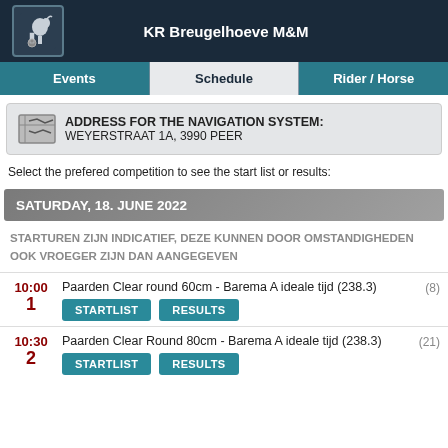KR Breugelhoeve M&M
Events | Schedule | Rider / Horse
ADDRESS FOR THE NAVIGATION SYSTEM: WEYERSTRAAT 1A, 3990 PEER
Select the prefered competition to see the start list or results:
SATURDAY, 18. JUNE 2022
STARTUREN ZIJN INDICATIEF, DEZE KUNNEN DOOR OMSTANDIGHEDEN OOK VROEGER ZIJN DAN AANGEGEVEN
10:00 1 Paarden Clear round 60cm - Barema A ideale tijd (238.3) (8) STARTLIST RESULTS
10:30 2 Paarden Clear Round 80cm - Barema A ideale tijd (238.3) (21) STARTLIST RESULTS